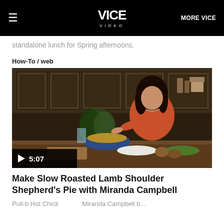VICE VIDEO | MORE VICE
standalone lunch for Spring afternoons.
How-To / web
[Figure (photo): A woman in an orange top cooking in a kitchen, stirring a dish in a blue pot on a wooden counter. Kitchen cabinets and various cooking items visible in background. Video thumbnail with play button showing 5:07 duration.]
Make Slow Roasted Lamb Shoulder Shepherd's Pie with Miranda Campbell
Pull-b Hot Chick... Miranda Campbell b...